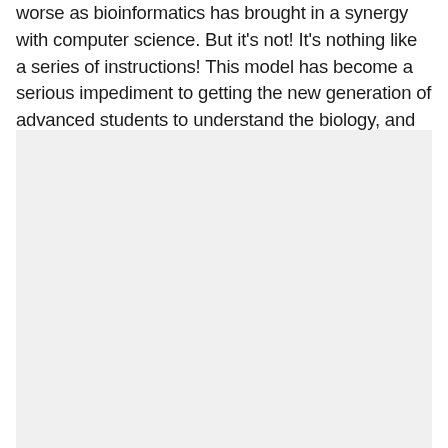worse as bioinformatics has brought in a synergy with computer science. But it's not! It's nothing like a series of instructions! This model has become a serious impediment to getting the new generation of advanced students to understand the biology, and worse, they try to shoehorn the biology into how they think a sophisticated computer program ought to work.
[Figure (other): A large light gray rectangular area, likely a figure or image placeholder occupying the lower portion of the page.]